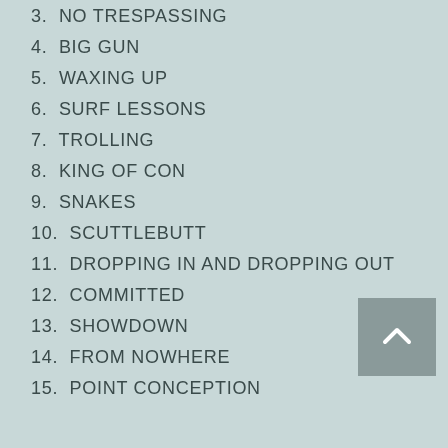3. NO TRESPASSING
4. BIG GUN
5. WAXING UP
6. SURF LESSONS
7. TROLLING
8. KING OF CON
9. SNAKES
10. SCUTTLEBUTT
11. DROPPING IN AND DROPPING OUT
12. COMMITTED
13. SHOWDOWN
14. FROM NOWHERE
15. POINT CONCEPTION